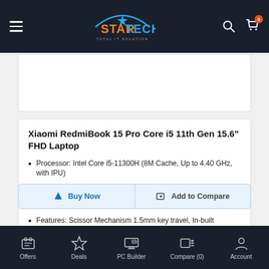Star Tech – Total IT Solution
[Figure (screenshot): Laptop product image placeholder (white area)]
Xiaomi RedmiBook 15 Pro Core i5 11th Gen 15.6" FHD Laptop
Processor: Intel Core i5-11300H (8M Cache, Up to 4.40 GHz, with IPU)
RAM: 8GB DDR4 RAM, Storage: 512GB NVMe SSD
Display: 15.6" FHD (1920x1080) Backlit Display
Features: Scissor Mechanism 1.5mm key travel, In-built microphone
62,500৳
Offers  Deals  PC Builder  Compare (0)  Account